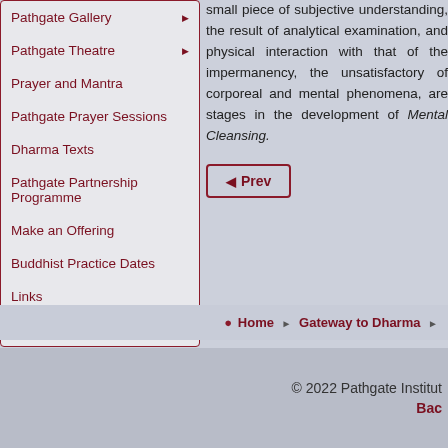Pathgate Gallery
Pathgate Theatre
Prayer and Mantra
Pathgate Prayer Sessions
Dharma Texts
Pathgate Partnership Programme
Make an Offering
Buddhist Practice Dates
Links
Contact Us
small piece of subjective understanding, the result of analytical examination, and physical interaction with that of the impermanency, the unsatisfactory of corporeal and mental phenomena, are stages in the development of Mental Cleansing.
◀ Prev
Home ▶ Gateway to Dharma ▶
© 2022 Pathgate Institut Bac